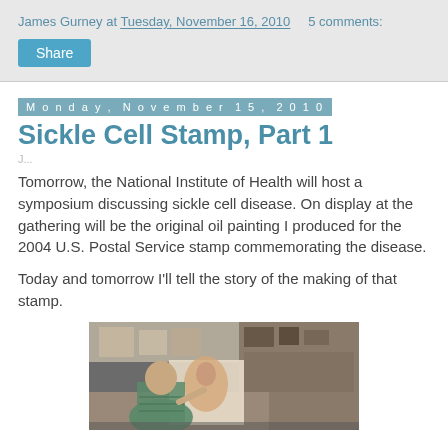James Gurney at Tuesday, November 16, 2010   5 comments:
Share
Monday, November 15, 2010
Sickle Cell Stamp, Part 1
Tomorrow, the National Institute of Health will host a symposium discussing sickle cell disease. On display at the gathering will be the original oil painting I produced for the 2004 U.S. Postal Service stamp commemorating the disease.
Today and tomorrow I'll tell the story of the making of that stamp.
[Figure (photo): A person viewed from behind, seated and working on an illustration or painting at a desk, surrounded by reference images and art supplies on shelves.]